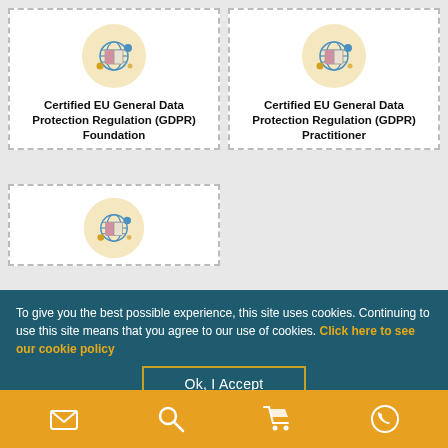[Figure (illustration): Course card: Certified EU General Data Protection Regulation (GDPR) Foundation with book/globe icon on yellow circle]
Certified EU General Data Protection Regulation (GDPR) Foundation
[Figure (illustration): Course card: Certified EU General Data Protection Regulation (GDPR) Practitioner with book/globe icon on yellow circle]
Certified EU General Data Protection Regulation (GDPR) Practitioner
[Figure (illustration): Partial course card with book/globe icon on yellow circle]
To give you the best possible experience, this site uses cookies. Continuing to use this site means that you agree to our use of cookies. Click here to see our cookie policy
Ok, I Accept
[Figure (infographic): Orange footer bar with four icons: email, search, shopping cart, phone]